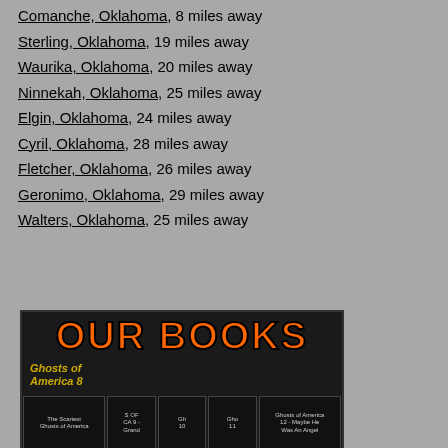Comanche, Oklahoma, 8 miles away
Sterling, Oklahoma, 19 miles away
Waurika, Oklahoma, 20 miles away
Ninnekah, Oklahoma, 25 miles away
Elgin, Oklahoma, 24 miles away
Cyril, Oklahoma, 28 miles away
Fletcher, Oklahoma, 26 miles away
Geronimo, Oklahoma, 29 miles away
Walters, Oklahoma, 25 miles away
[Figure (photo): OUR BOOKS banner image showing multiple book covers including Ghosts of America 8, The Scariest Ghosts of America, Ghosts of America 9, 10, 11, 12 - Maybe He Was An Angel]